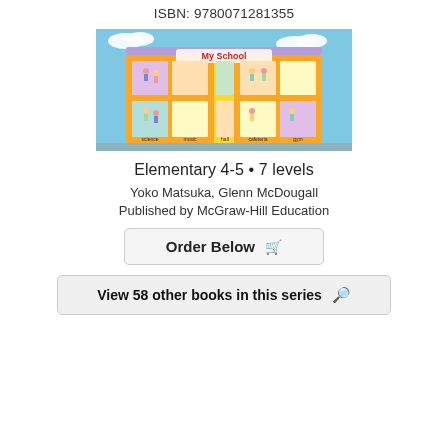ISBN: 9780071281355
[Figure (illustration): Illustration of a cutaway school building labeled 'My School' showing multiple rooms with cartoon children and teachers engaged in various school activities across two floors.]
Elementary 4-5 • 7 levels
Yoko Matsuka, Glenn McDougall
Published by McGraw-Hill Education
Order Below 🛒
View 58 other books in this series 🔭